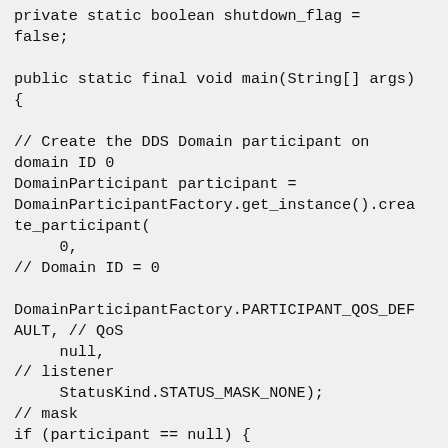private static boolean shutdown_flag =
false;

public static final void main(String[] args)
{

// Create the DDS Domain participant on
domain ID 0
DomainParticipant participant =
DomainParticipantFactory.get_instance().crea
te_participant(
     0,
// Domain ID = 0

DomainParticipantFactory.PARTICIPANT_QOS_DEF
AULT, // QoS
     null,
// listener
     StatusKind.STATUS_MASK_NONE);
// mask
if (participant == null) {
System.err.println("Unable to create domain
participant");
return;